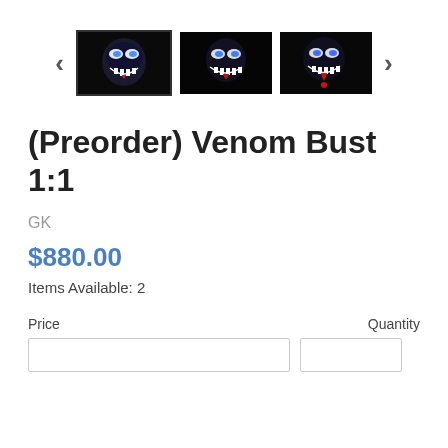[Figure (photo): Image gallery carousel with left/right arrows and three thumbnail images of a Venom bust collectible figure. First thumbnail is selected (bordered), showing a dark background Venom character. Second and third thumbnails also show Venom from different angles.]
(Preorder) Venom Bust 1:1
GK
$880.00
Items Available: 2
| Price | Quantity |
| --- | --- |
|  |  |